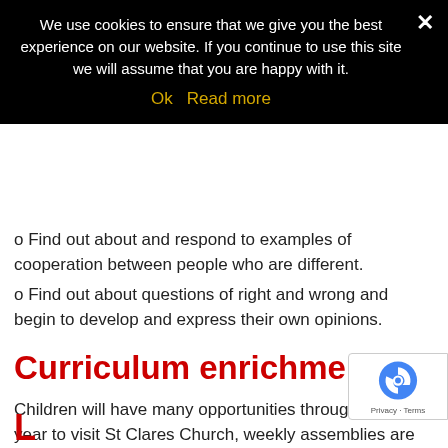We use cookies to ensure that we give you the best experience on our website. If you continue to use this site we will assume that you are happy with it. Ok  Read more
o Find out about and respond to examples of cooperation between people who are different.
o Find out about questions of right and wrong and begin to develop and express their own opinions.
Curriculum enrichment
Children will have many opportunities throughout the year to visit St Clares Church, weekly assemblies are delivered by the Church Community Group, as well as visits from those of other faiths, which will enhance their cultural kno...